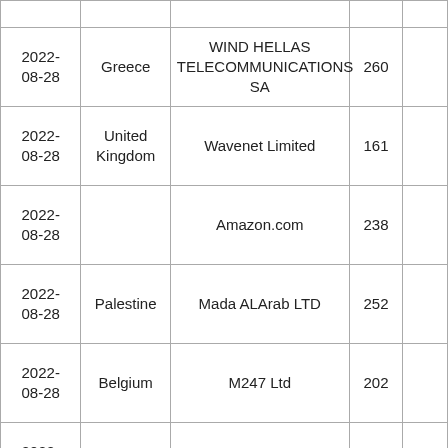| 2022-08-28 | Greece | WIND HELLAS TELECOMMUNICATIONS SA | 260 |  |
| 2022-08-28 | United Kingdom | Wavenet Limited | 161 |  |
| 2022-08-28 |  | Amazon.com | 238 |  |
| 2022-08-28 | Palestine | Mada ALArab LTD | 252 |  |
| 2022-08-28 | Belgium | M247 Ltd | 202 |  |
| 2022-08-28 | Palestine | Mada ALArab LTD | 220 |  |